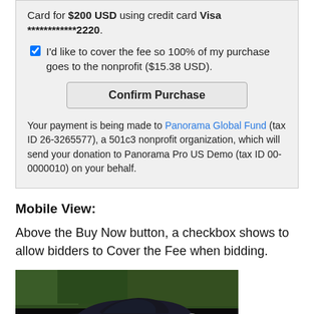Card for $200 USD using credit card Visa ************2220.
I'd like to cover the fee so 100% of my purchase goes to the nonprofit ($15.38 USD).
Confirm Purchase
Your payment is being made to Panorama Global Fund (tax ID 26-3265577), a 501c3 nonprofit organization, which will send your donation to Panorama Pro US Demo (tax ID 00-0000010) on your behalf.
Mobile View:
Above the Buy Now button, a checkbox shows to allow bidders to Cover the Fee when bidding.
[Figure (screenshot): Mobile view screenshot showing a dark sports car (Aston Martin style) on a road with trees in background, part of a mobile auction/bidding interface]